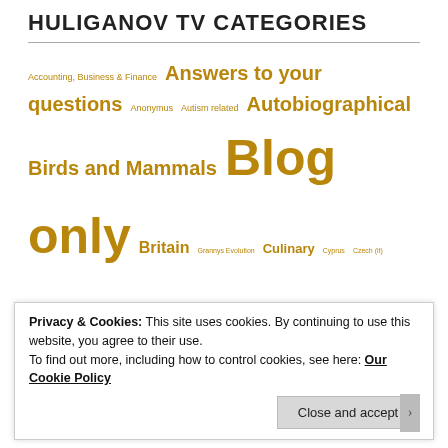HULIGANOV TV CATEGORIES
[Figure (infographic): Tag cloud of Huliganov TV video categories in gold/yellow color, varying font sizes indicating popularity. Categories include: Accounting Business & Finance, Answers to your questions, Anonymus, Autism related, Autobiographical, Birds and Mammals, Blog only, Britain, Grannys Evolution, Culinary, Cyprus, Czech Republic, Default or Miscellaneous, Diary of the Near future DTNSF, Car awareness, Early films first attempts, Family fun, Filming While Driving, Filming While Eating, Filming While on Public Transport, Filming While Walking, Fokus, Fish and Aquaria, France, Gallery style (showcases my photos), George, German (DE), Germany, GoldList Method, Haak, Hotel or Restaurant Reviews, Huliganov's Russian Course, Hulirants, Hymns by other people, HM1901, Hukird1, James Whale, Languages and Linguistics, Learning Japanese and Chinese, Linguistic, Meandering, Literature, LiqorOVoronski, Me singing with introductions, Me singing without introductions, MikeAbrams, Musical Muckaround, Music meaningplayed by me, MyCompanions, My person other than blog, My Scores, My Wife, North America, Northern Poland, Nova Odnova Kaznennia]
Privacy & Cookies: This site uses cookies. By continuing to use this website, you agree to their use.
To find out more, including how to control cookies, see here: Our Cookie Policy
Close and accept